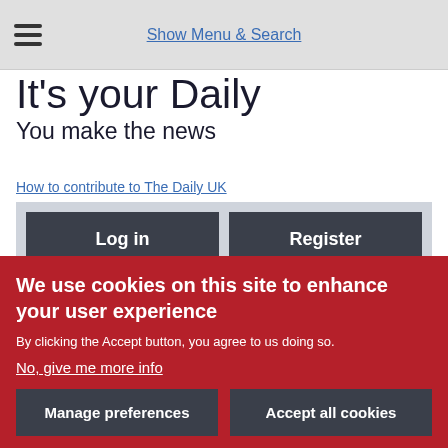Show Menu & Search
It's your Daily
You make the news
How to contribute to The Daily UK
Log in   Register
[Figure (photo): Partial photo of a person in front of a building with ornate architecture]
We use cookies on this site to enhance your user experience
By clicking the Accept button, you agree to us doing so.
No, give me more info
Manage preferences   Accept all cookies